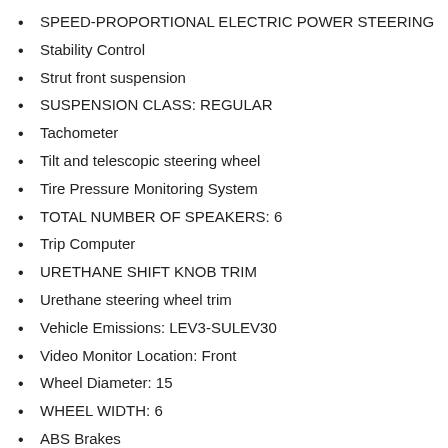SPEED-PROPORTIONAL ELECTRIC POWER STEERING
Stability Control
Strut front suspension
SUSPENSION CLASS: REGULAR
Tachometer
Tilt and telescopic steering wheel
Tire Pressure Monitoring System
TOTAL NUMBER OF SPEAKERS: 6
Trip Computer
URETHANE SHIFT KNOB TRIM
Urethane steering wheel trim
Vehicle Emissions: LEV3-SULEV30
Video Monitor Location: Front
Wheel Diameter: 15
WHEEL WIDTH: 6
ABS Brakes
Air Conditioning